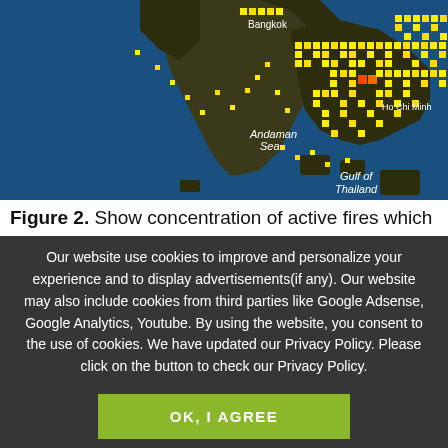[Figure (map): Satellite/heat map showing concentration of active fires over Southeast Asia region including Bangkok, Gulf of Thailand, Andaman Sea, and Ho Chi Minh City area. Yellow and orange squares indicate fire hotspots on a dark background map.]
Figure 2. Show concentration of active fires which
Our website use cookies to improve and personalize your experience and to display advertisements(if any). Our website may also include cookies from third parties like Google Adsense, Google Analytics, Youtube. By using the website, you consent to the use of cookies. We have updated our Privacy Policy. Please click on the button to check our Privacy Policy.
OK, I AGREE